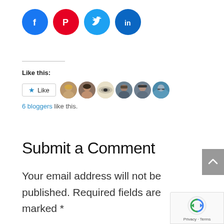[Figure (other): Social media sharing icons: Facebook (blue circle), Pinterest (red circle), Twitter (light blue circle), LinkedIn (dark blue circle)]
Like this:
[Figure (other): Like button with star icon and 6 blogger avatar photos]
6 bloggers like this.
Submit a Comment
Your email address will not be published. Required fields are marked *